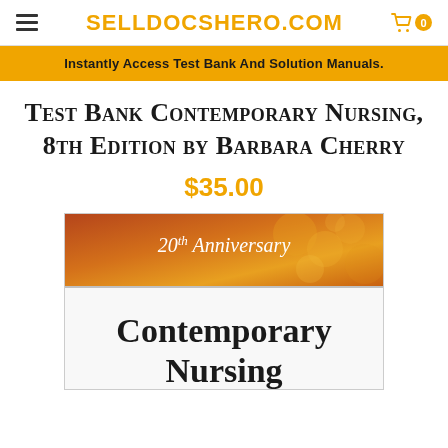SELLDOCSHERO.COM
Instantly Access Test Bank And Solution Manuals.
Test Bank Contemporary Nursing, 8th Edition by Barbara Cherry
$35.00
[Figure (photo): Book cover of Contemporary Nursing 8th Edition showing '20th Anniversary' banner with orange/gold gradient background and the text 'Contemporary Nursing' in large serif font]